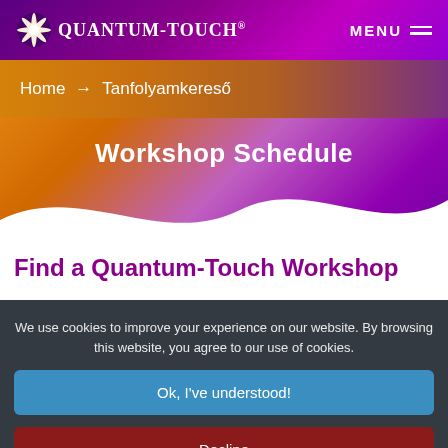Quantum-Touch®  MENU
Home → Tanfolyamkereső
Workshop Schedule
Find a Quantum-Touch Workshop
We use cookies to improve your experience on our website. By browsing this website, you agree to our use of cookies.
Ok, I've understood!
Decline
More Info